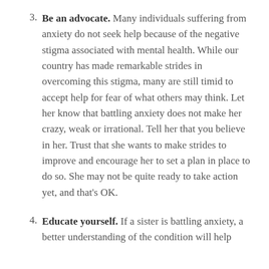3. Be an advocate. Many individuals suffering from anxiety do not seek help because of the negative stigma associated with mental health. While our country has made remarkable strides in overcoming this stigma, many are still timid to accept help for fear of what others may think. Let her know that battling anxiety does not make her crazy, weak or irrational. Tell her that you believe in her. Trust that she wants to make strides to improve and encourage her to set a plan in place to do so. She may not be quite ready to take action yet, and that's OK.
4. Educate yourself. If a sister is battling anxiety, a better understanding of the condition will help